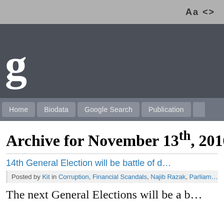Aa <>
[Figure (screenshot): Dark gray website header banner with large letter 'g' visible on left side]
Home   Biodata   Google Search   Publication
Archive for November 13th, 2016
14th General Election will be battle of d…
Posted by Kit in Corruption, Financial Scandals, Najib Razak, Parliam…
The next General Elections will be a b…